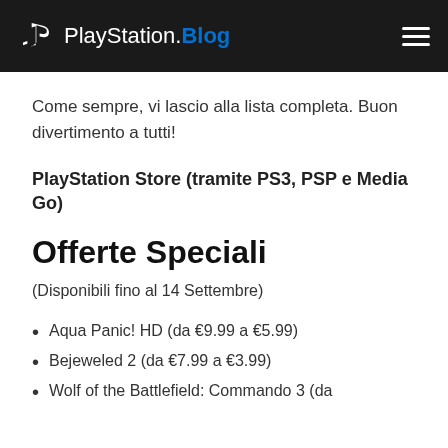PlayStation.Blog
Come sempre, vi lascio alla lista completa. Buon divertimento a tutti!
PlayStation Store (tramite PS3, PSP e Media Go)
Offerte Speciali
(Disponibili fino al 14 Settembre)
Aqua Panic! HD (da €9.99 a €5.99)
Bejeweled 2 (da €7.99 a €3.99)
Wolf of the Battlefield: Commando 3 (da